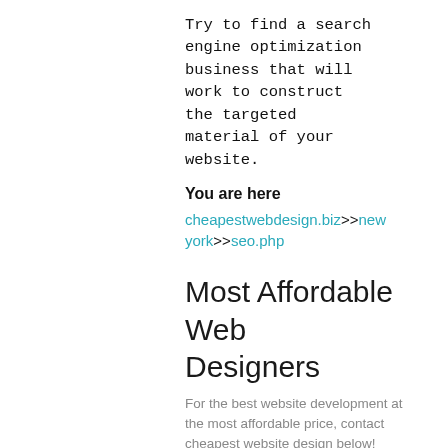Try to find a search engine optimization business that will work to construct the targeted material of your website.
You are here
cheapestwebdesign.biz>>new york>>seo.php
Most Affordable Web Designers
For the best website development at the most affordable price, contact cheapest website design below!
Name *
First   Last
Email *